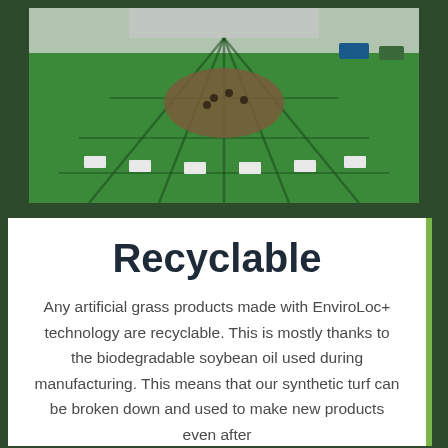[Figure (photo): Aerial view of a large circular artificial grass installation with geometric diamond shadow patterns, people gathered in the center, and display boards arranged around the perimeter.]
Recyclable
Any artificial grass products made with EnviroLoc+ technology are recyclable. This is mostly thanks to the biodegradable soybean oil used during manufacturing. This means that our synthetic turf can be broken down and used to make new products even after